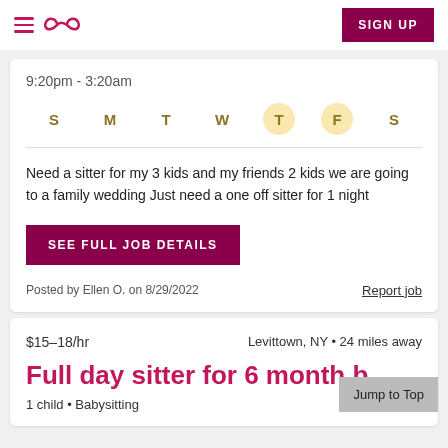SIGN UP
9:20pm - 3:20am
S M T W T F S (T and F highlighted)
Need a sitter for my 3 kids and my friends 2 kids we are going to a family wedding Just need a one off sitter for 1 night
SEE FULL JOB DETAILS
Posted by Ellen O. on 8/29/2022
Report job
$15–18/hr    Levittown, NY • 24 miles away
Full day sitter for 6 month b
1 child • Babysitting
Jump to Top